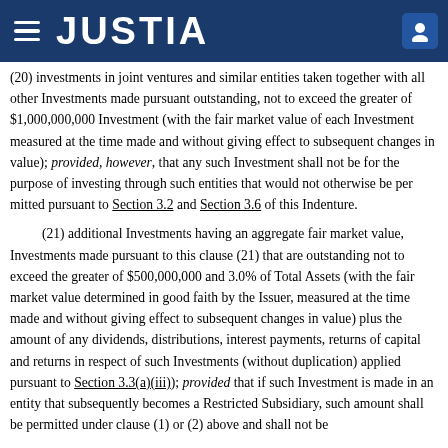JUSTIA
(20) investments in joint ventures and similar entities taken together with all other Investments made pursuant outstanding, not to exceed the greater of $1,000,000,000 Investment (with the fair market value of each Investment measured at the time made and without giving effect to subsequent changes in value); provided, however, that any such Investment shall not be for the purpose of investing through such entities that would not otherwise be permitted pursuant to Section 3.2 and Section 3.6 of this Indenture.
(21) additional Investments having an aggregate fair market value... Investments made pursuant to this clause (21) that are greater of $500,000,000 and 3.0% of Total Assets (with the fair market value determined in good faith by the Issuer, measured at the time made and without giving effect to subsequent changes in value) plus the amount of any dividends, distributions, interest payments, returns of capital and returns in respect of such Investments (without duplication) applied pursuant to Section 3.3(a)(iii)); provided that if any Investment is made in an entity that subsequently becomes a Restricted Subsidiary, such amount shall be permitted under clause (1) or (2) above and shall not be counted.